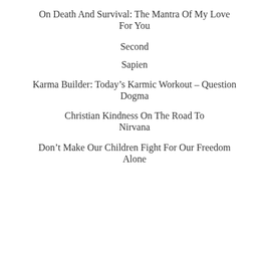On Death And Survival: The Mantra Of My Love For You
Second
Sapien
Karma Builder: Today’s Karmic Workout – Question Dogma
Christian Kindness On The Road To Nirvana
Don’t Make Our Children Fight For Our Freedom Alone